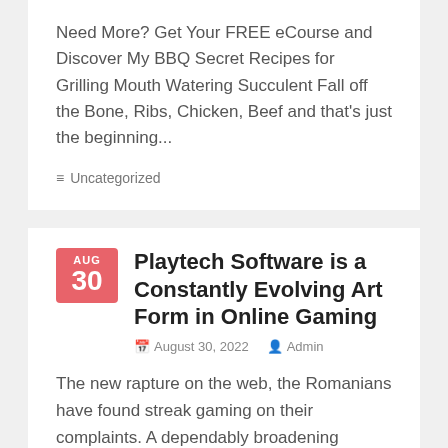Need More? Get Your FREE eCourse and Discover My BBQ Secret Recipes for Grilling Mouth Watering Succulent Fall off the Bone, Ribs, Chicken, Beef and that's just the beginning...
≡ Uncategorized
Playtech Software is a Constantly Evolving Art Form in Online Gaming
August 30, 2022  Admin
The new rapture on the web, the Romanians have found streak gaming on their complaints. A dependably broadening number of region from Romania are doing battling for a higher pagerank in google, attempting different SEO contraptions, and backlink campaigns.